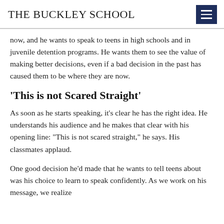THE BUCKLEY SCHOOL
now, and he wants to speak to teens in high schools and in juvenile detention programs. He wants them to see the value of making better decisions, even if a bad decision in the past has caused them to be where they are now.
'This is not Scared Straight'
As soon as he starts speaking, it's clear he has the right idea. He understands his audience and he makes that clear with his opening line: "This is not scared straight," he says. His classmates applaud.
One good decision he'd made that he wants to tell teens about was his choice to learn to speak confidently. As we work on his message, we realize